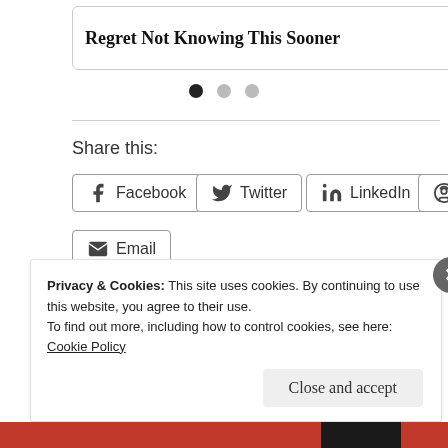[Figure (screenshot): Partial content cards at top: left card shows 'Regret Not Knowing This Sooner', right card shows 'Aids Cru' (truncated)]
[Figure (infographic): Pagination dots: one filled black dot and two grey dots]
Share this:
Facebook
Twitter
LinkedIn
Reddit
Email
[Figure (screenshot): Like button with blue star icon]
Privacy & Cookies: This site uses cookies. By continuing to use this website, you agree to their use.
To find out more, including how to control cookies, see here:
Cookie Policy
Close and accept